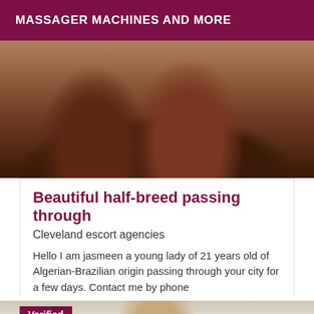MASSAGER MACHINES AND MORE
[Figure (photo): Close-up photo of legs on a tiled surface]
Beautiful half-breed passing through
Cleveland escort agencies
Hello I am jasmeen a young lady of 21 years old of Algerian-Brazilian origin passing through your city for a few days. Contact me by phone
[Figure (photo): Photo of a blonde woman with a Verified badge overlay]